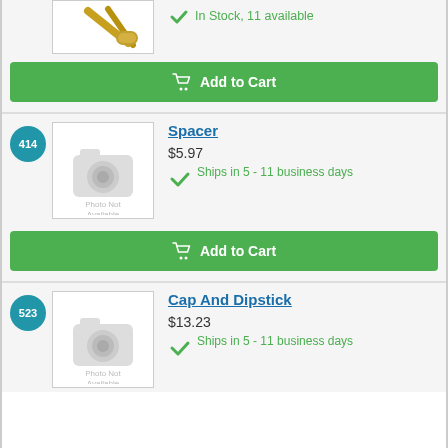[Figure (photo): Partial product image showing brass/metal parts on white background, top of page cut off]
In Stock, 11 available
Add to Cart
414
[Figure (photo): Photo Not Available placeholder with camera icon]
Spacer
$5.97
Ships in 5 - 11 business days
Add to Cart
523
[Figure (photo): Photo Not Available placeholder with camera icon]
Cap And Dipstick
$13.23
Ships in 5 - 11 business days